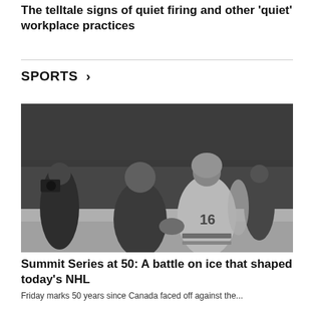The telltale signs of quiet firing and other 'quiet' workplace practices
SPORTS >
[Figure (photo): Black and white photograph of two hockey players shaking hands on the ice, with a crowd and photographers visible in the background. One player wears jersey number 16.]
Summit Series at 50: A battle on ice that shaped today's NHL
Friday marks 50 years since Canada faced off against the...